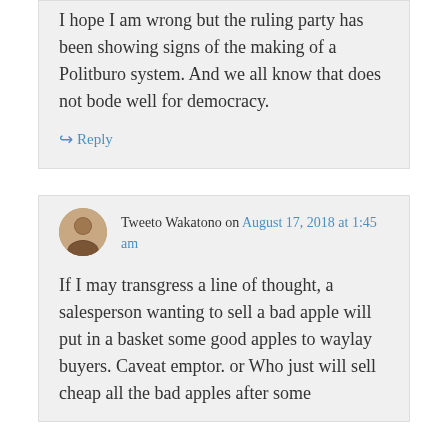I hope I am wrong but the ruling party has been showing signs of the making of a Politburo system. And we all know that does not bode well for democracy.
↪ Reply
Tweeto Wakatono on August 17, 2018 at 1:45 am
If I may transgress a line of thought, a salesperson wanting to sell a bad apple will put in a basket some good apples to waylay buyers. Caveat emptor. or Who just will sell cheap all the bad apples after some